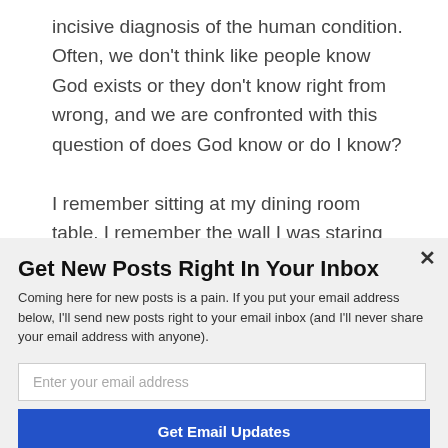incisive diagnosis of the human condition. Often, we don't think like people know God exists or they don't know right from wrong, and we are confronted with this question of does God know or do I know?
I remember sitting at my dining room table. I remember the wall I was staring at, working through the question. Well, the Bible in Romans
Get New Posts Right In Your Inbox
Coming here for new posts is a pain. If you put your email address below, I'll send new posts right to your email inbox (and I'll never share your email address with anyone).